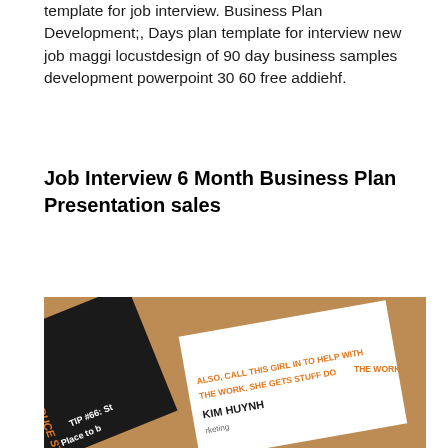template for job interview. Business Plan Development;, Days plan template for interview new job maggi locustdesign of 90 day business samples development powerpoint 30 60 free addiehf.
Job Interview 6 Month Business Plan Presentation sales
[Figure (photo): Photo of two business cards overlapping on a brown cardboard background. One card is black with orange and white text including 'TO REDUCE ST...', 'TIP #66: St...', 'Place to b...', 'Stress...'. The other white card shows 'ALSO, CALL THIS GIRL IN TO HELP WITH THE WORK. SHE GETS STUFF DO...' in orange, 'KIM HUYNH' in black bold, and 'rketing...' in gray.]